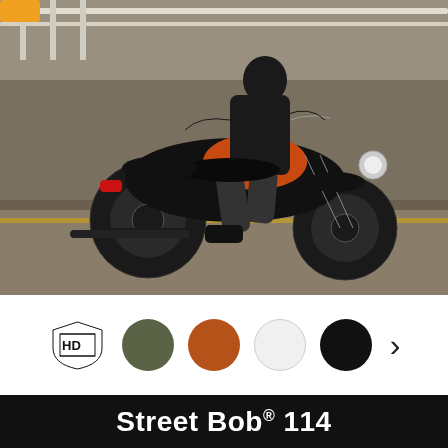[Figure (photo): A rider in black leather jacket and dark jeans riding a black and orange Harley-Davidson Street Bob 114 motorcycle across a bridge or pavement. The motorcycle has a distinctive orange fuel tank with a '114' graphic. The background shows bridge railings and a blurred cityscape.]
[Figure (infographic): Color swatch selector row showing: Harley-Davidson shield logo (black outline), followed by four color circles: olive/army green, rust/orange-brown, white, and black. A right-pointing chevron arrow appears at the far right.]
Street Bob® 114